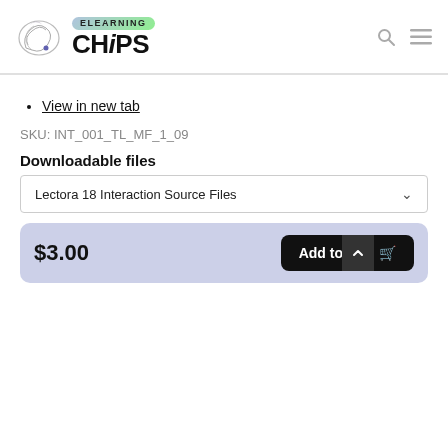[Figure (logo): ELearning CHiPS logo with chip/swirl illustration and green-purple ELEARNING badge]
View in new tab
SKU: INT_001_TL_MF_1_09
Downloadable files
Lectora 18 Interaction Source Files
$3.00
Add to cart